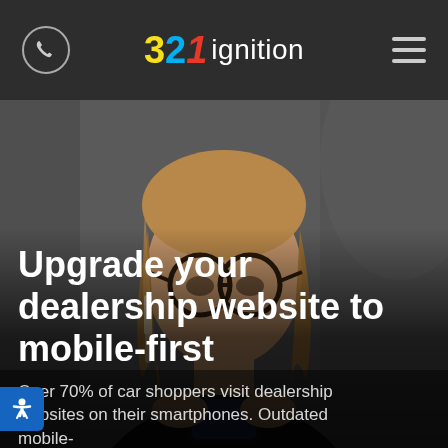321 ignition
[Figure (photo): Woman with glasses and black top looking down at a smartphone, blurred background, hero image for dealership mobile website]
Upgrade your dealership website to mobile-first
Over 70% of car shoppers visit dealership websites on their smartphones. Outdated mobile-